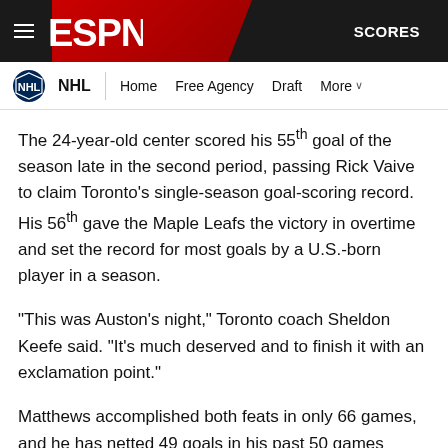ESPN — NHL | Home  Free Agency  Draft  More  SCORES
The 24-year-old center scored his 55th goal of the season late in the second period, passing Rick Vaive to claim Toronto's single-season goal-scoring record. His 56th gave the Maple Leafs the victory in overtime and set the record for most goals by a U.S.-born player in a season.
"This was Auston's night," Toronto coach Sheldon Keefe said. "It's much deserved and to finish it with an exclamation point."
Matthews accomplished both feats in only 66 games, and he has netted 49 goals in his past 50 games alone.
Jimmy Carson (1987-88) and Kevin Stevens (1992-93) previously held the record for most goals by a U.S.-born player with 55.